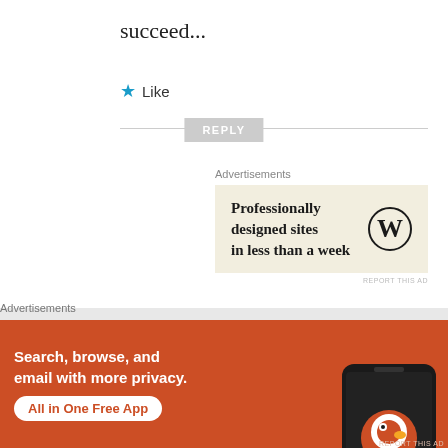succeed...
★ Like
REPLY
Advertisements
[Figure (advertisement): WordPress advertisement: Professionally designed sites in less than a week, with WordPress logo]
REPORT THIS AD
[Figure (illustration): Anonymous commenter avatar - purple geometric snowflake/diamond pattern]
Anonymous
MAY 23, 2014 AT 12:17 PM
Advertisements
[Figure (advertisement): DuckDuckGo advertisement: Search, browse, and email with more privacy. All in One Free App. Shows phone with DuckDuckGo app.]
REPORT THIS AD